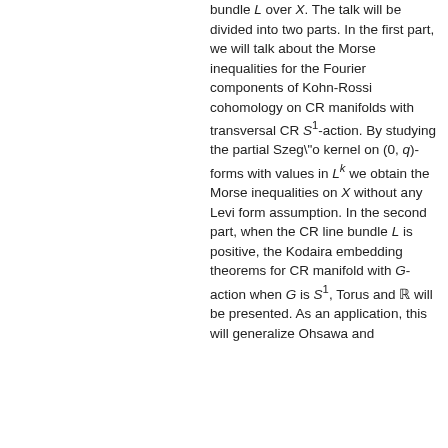bundle L over X. The talk will be divided into two parts. In the first part, we will talk about the Morse inequalities for the Fourier components of Kohn-Rossi cohomology on CR manifolds with transversal CR S^1-action. By studying the partial Szeg\"o kernel on (0,q)-forms with values in L^k we obtain the Morse inequalities on X without any Levi form assumption. In the second part, when the CR line bundle L is positive, the Kodaira embedding theorems for CR manifold with G-action when G is S^1, Torus and R will be presented. As an application, this will generalize Ohsawa and